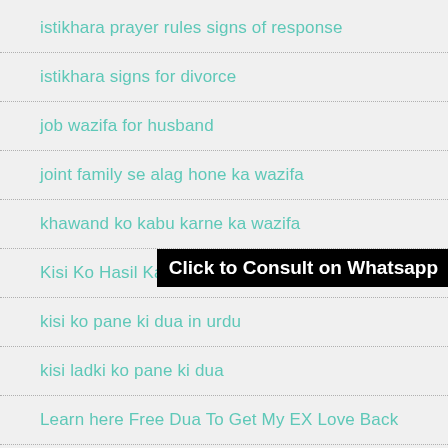istikhara prayer rules signs of response
istikhara signs for divorce
job wazifa for husband
joint family se alag hone ka wazifa
khawand ko kabu karne ka wazifa
Kisi Ko Hasil Karne Ki Dua in Quran
kisi ko pane ki dua in urdu
kisi ladki ko pane ki dua
Learn here Free Dua To Get My EX Love Back
long distance relationship activities